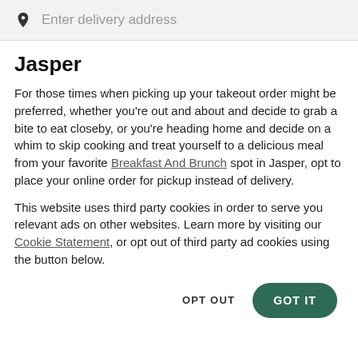[Figure (screenshot): Search bar with location pin icon and placeholder text 'Enter delivery address' on a light gray background]
Jasper
For those times when picking up your takeout order might be preferred, whether you're out and about and decide to grab a bite to eat closeby, or you're heading home and decide on a whim to skip cooking and treat yourself to a delicious meal from your favorite Breakfast And Brunch spot in Jasper, opt to place your online order for pickup instead of delivery.
This website uses third party cookies in order to serve you relevant ads on other websites. Learn more by visiting our Cookie Statement, or opt out of third party ad cookies using the button below.